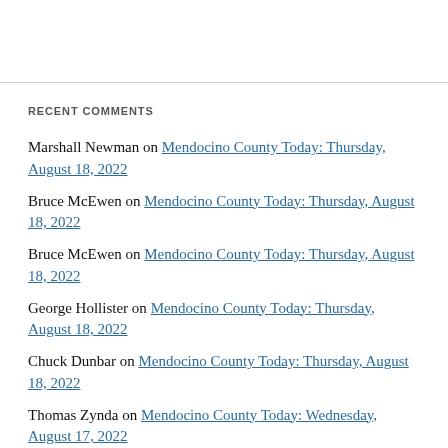RECENT COMMENTS
Marshall Newman on Mendocino County Today: Thursday, August 18, 2022
Bruce McEwen on Mendocino County Today: Thursday, August 18, 2022
Bruce McEwen on Mendocino County Today: Thursday, August 18, 2022
George Hollister on Mendocino County Today: Thursday, August 18, 2022
Chuck Dunbar on Mendocino County Today: Thursday, August 18, 2022
Thomas Zynda on Mendocino County Today: Wednesday, August 17, 2022